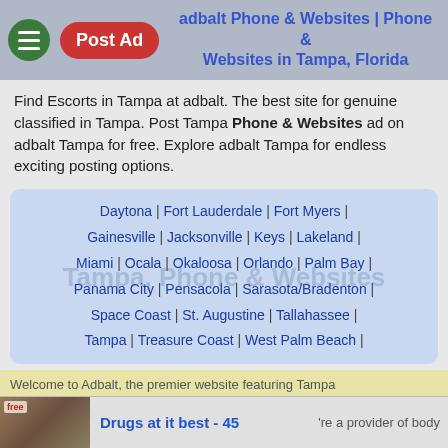adbalt Phone & Websites | Phone & Websites in Tampa, Florida
Find Escorts in Tampa at adbalt. The best site for genuine classified in Tampa. Post Tampa Phone & Websites ad on adbalt Tampa for free. Explore adbalt Tampa for endless exciting posting options.
Daytona | Fort Lauderdale | Fort Myers | Gainesville | Jacksonville | Keys | Lakeland | Miami | Ocala | Okaloosa | Orlando | Palm Bay | Panama City | Pensacola | Sarasota/Bradenton | Space Coast | St. Augustine | Tallahassee | Tampa | Treasure Coast | West Palm Beach |
Welcome to Adbalt, the premier website featuring Tampa Premium Ads Phone & Websites, sensual massage, and reviews for
Wed 10 November area. Feel free to look around, create a
Drugs at it best - 45 're a provider of body